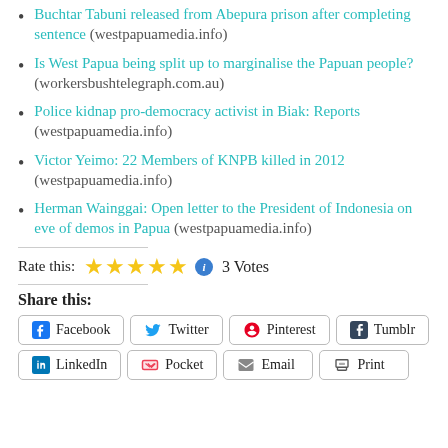Buchtar Tabuni released from Abepura prison after completing sentence (westpapuamedia.info)
Is West Papua being split up to marginalise the Papuan people? (workersbushtelegraph.com.au)
Police kidnap pro-democracy activist in Biak: Reports (westpapuamedia.info)
Victor Yeimo: 22 Members of KNPB killed in 2012 (westpapuamedia.info)
Herman Wainggai: Open letter to the President of Indonesia on eve of demos in Papua (westpapuamedia.info)
Rate this: ★★★★★ ℹ 3 Votes
Share this:
Facebook Twitter Pinterest Tumblr LinkedIn Pocket Email Print